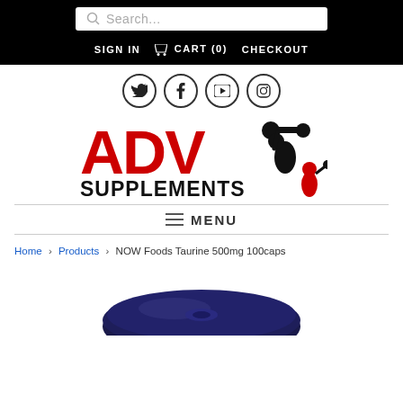Search... | SIGN IN | CART (0) | CHECKOUT
[Figure (logo): Social media icons: Twitter, Facebook, YouTube, Instagram in circles]
[Figure (logo): ADV Supplements logo with red text and black weightlifter silhouettes]
≡ MENU
Home > Products > NOW Foods Taurine 500mg 100caps
[Figure (photo): Partial view of a dark navy blue supplement bottle cap from NOW Foods Taurine 500mg 100caps]